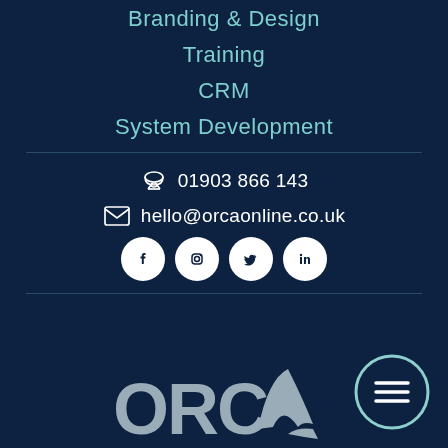Branding & Design
Training
CRM
System Development
📞 01903 866 143
✉ hello@orcaonline.co.uk
[Figure (logo): ORC/Orca Online logo with orca fin silhouette in grey/silver on dark navy background]
[Figure (other): Social media icons: Facebook, Instagram, Twitter, LinkedIn — white icons in white circles on dark navy background]
[Figure (other): Hamburger menu button: three horizontal lines in a circle outline, dark navy fill with teal/white border]